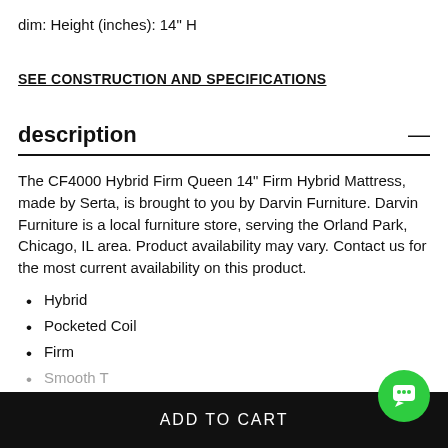dim: Height (inches): 14" H
SEE CONSTRUCTION AND SPECIFICATIONS
description
The CF4000 Hybrid Firm Queen 14" Firm Hybrid Mattress, made by Serta, is brought to you by Darvin Furniture. Darvin Furniture is a local furniture store, serving the Orland Park, Chicago, IL area. Product availability may vary. Contact us for the most current availability on this product.
Hybrid
Pocketed Coil
Firm
ADD TO CART